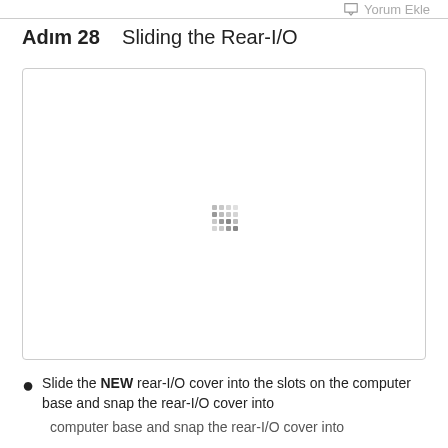Yorum Ekle
Adım 28    Sliding the Rear-I/O
[Figure (photo): Large image area with a loading spinner indicator (dot grid pattern) in the center, representing a photo of sliding the rear-I/O cover into the computer base.]
Slide the NEW rear-I/O cover into the slots on the computer base and snap the rear-I/O cover into
computer base and snap the rear-I/O cover into